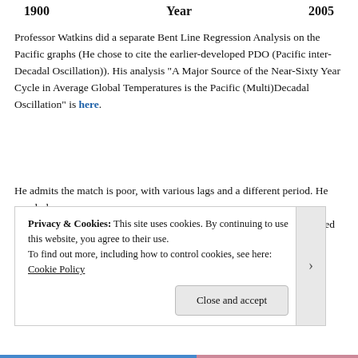1900   Year   2005
Professor Watkins did a separate Bent Line Regression Analysis on the Pacific graphs (He chose to cite the earlier-developed PDO (Pacific inter-Decadal Oscillation)). His analysis “A Major Source of the Near-Sixty Year Cycle in Average Global Temperatures is the Pacific (Multi)Decadal Oscillation” is here.
He admits the match is poor, with various lags and a different period. He concludes:
“Thus while the Pacific (Multi)Decadal Oscillation appears to be involved in the cycles of the average global temperature there have to be other factors also involved.”
Privacy & Cookies: This site uses cookies. By continuing to use this website, you agree to their use.
To find out more, including how to control cookies, see here: Cookie Policy
Close and accept